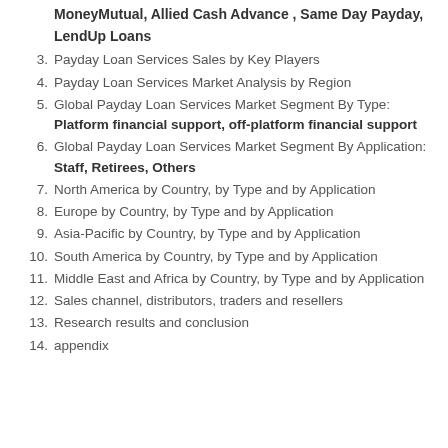MoneyMutual, Allied Cash Advance , Same Day Payday, LendUp Loans
3. Payday Loan Services Sales by Key Players
4. Payday Loan Services Market Analysis by Region
5. Global Payday Loan Services Market Segment By Type: Platform financial support, off-platform financial support
6. Global Payday Loan Services Market Segment By Application: Staff, Retirees, Others
7. North America by Country, by Type and by Application
8. Europe by Country, by Type and by Application
9. Asia-Pacific by Country, by Type and by Application
10. South America by Country, by Type and by Application
11. Middle East and Africa by Country, by Type and by Application
12. Sales channel, distributors, traders and resellers
13. Research results and conclusion
14. appendix